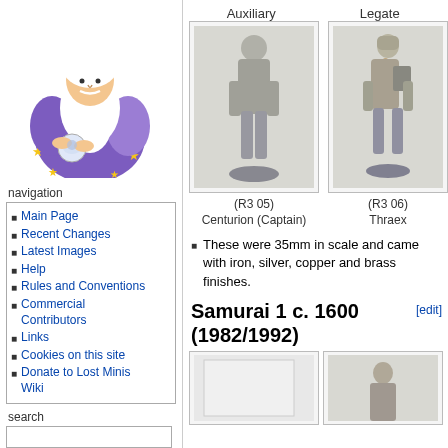[Figure (illustration): Cartoon wizard/old man with white beard in purple robe with stars, holding a crystal ball]
navigation
Main Page
Recent Changes
Latest Images
Help
Rules and Conventions
Commercial Contributors
Links
Cookies on this site
Donate to Lost Minis Wiki
search
Auxiliary
Legate
[Figure (photo): Metal miniature figure - Centurion (Captain), Roman auxiliary soldier, 35mm scale, metallic finish]
[Figure (photo): Metal miniature figure - Thraex, Roman gladiator, 35mm scale, metallic finish]
(R3 05)
Centurion (Captain)
(R3 06)
Thraex
These were 35mm in scale and came with iron, silver, copper and brass finishes.
Samurai 1 c. 1600 (1982/1992)
[Figure (photo): Blank/white square placeholder for miniature figure photo]
[Figure (photo): Partial miniature figure photo visible at right edge]